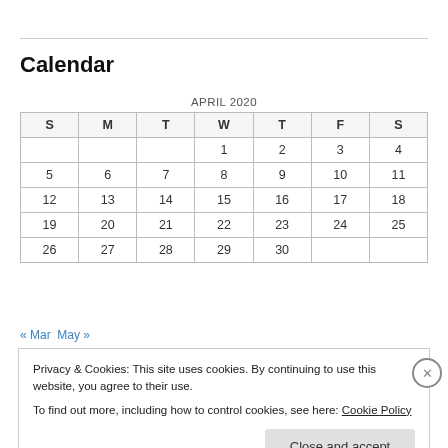Calendar
| S | M | T | W | T | F | S |
| --- | --- | --- | --- | --- | --- | --- |
|  |  |  | 1 | 2 | 3 | 4 |
| 5 | 6 | 7 | 8 | 9 | 10 | 11 |
| 12 | 13 | 14 | 15 | 16 | 17 | 18 |
| 19 | 20 | 21 | 22 | 23 | 24 | 25 |
| 26 | 27 | 28 | 29 | 30 |  |  |
« Mar   May »
Privacy & Cookies: This site uses cookies. By continuing to use this website, you agree to their use. To find out more, including how to control cookies, see here: Cookie Policy